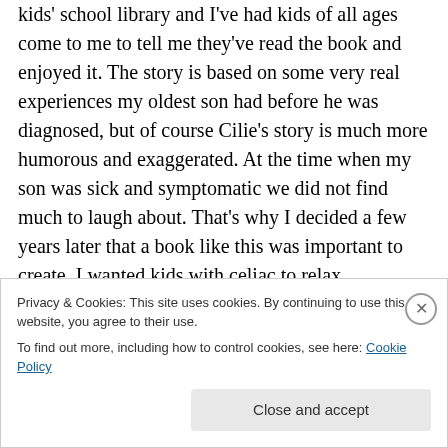kids' school library and I've had kids of all ages come to me to tell me they've read the book and enjoyed it. The story is based on some very real experiences my oldest son had before he was diagnosed, but of course Cilie's story is much more humorous and exaggerated. At the time when my son was sick and symptomatic we did not find much to laugh about. That's why I decided a few years later that a book like this was important to create. I wanted kids with celiac to relax, understand that they are not alone and it will get better. I also wanted to create a hero
Privacy & Cookies: This site uses cookies. By continuing to use this website, you agree to their use.
To find out more, including how to control cookies, see here: Cookie Policy